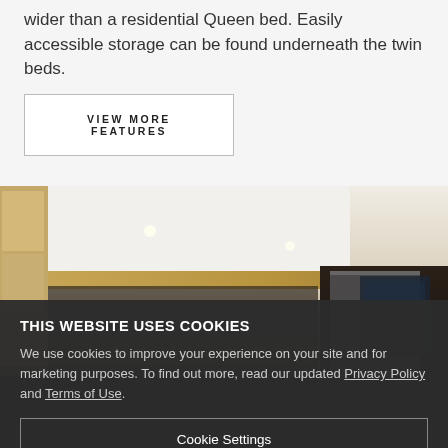wider than a residential Queen bed. Easily accessible storage can be found underneath the twin beds.
VIEW MORE FEATURES
[Figure (photo): Interior of an RV or travel trailer bedroom showing wood cabinetry, ceiling lights, and dark interior]
THIS WEBSITE USES COOKIES
We use cookies to improve your experience on your site and for marketing purposes. To find out more, read our updated Privacy Policy and Terms of Use.
Cookie Settings
Accept All Cookies